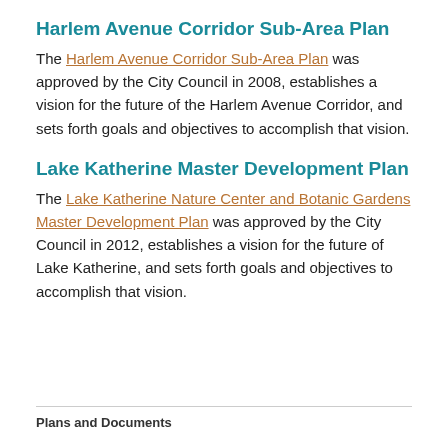Harlem Avenue Corridor Sub-Area Plan
The Harlem Avenue Corridor Sub-Area Plan was approved by the City Council in 2008, establishes a vision for the future of the Harlem Avenue Corridor, and sets forth goals and objectives to accomplish that vision.
Lake Katherine Master Development Plan
The Lake Katherine Nature Center and Botanic Gardens Master Development Plan was approved by the City Council in 2012, establishes a vision for the future of Lake Katherine, and sets forth goals and objectives to accomplish that vision.
Plans and Documents